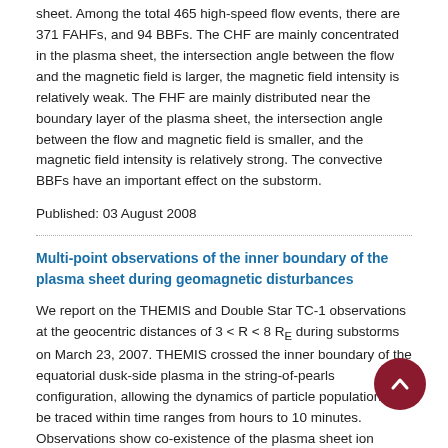sheet. Among the total 465 high-speed flow events, there are 371 FAHFs, and 94 BBFs. The CHF are mainly concentrated in the plasma sheet, the intersection angle between the flow and the magnetic field is larger, the magnetic field intensity is relatively weak. The FHF are mainly distributed near the boundary layer of the plasma sheet, the intersection angle between the flow and magnetic field is smaller, and the magnetic field intensity is relatively strong. The convective BBFs have an important effect on the substorm.
Published: 03 August 2008
Multi-point observations of the inner boundary of the plasma sheet during geomagnetic disturbances
We report on the THEMIS and Double Star TC-1 observations at the geocentric distances of 3 < R < 8 RE during substorms on March 23, 2007. THEMIS crossed the inner boundary of the equatorial dusk-side plasma in the string-of-pearls configuration, allowing the dynamics of particle populations to be traced within time ranges from hours to 10 minutes. Observations show co-existence of the plasma sheet ion population (5 keV) with the ring current ion population (100 - 1000 keV) at 4 < R < 6 RE. The plasma sheet population was characterized by pronounced "nose"-like dispersion with the spectral density maximum at ~10 keV. The plasma